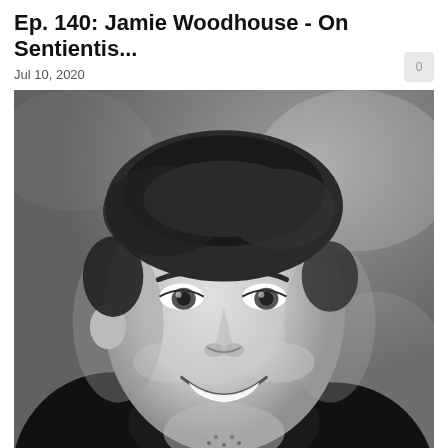Ep. 140: Jamie Woodhouse - On Sentientis...
Jul 10, 2020
[Figure (photo): Black and white portrait photo of Jamie Woodhouse, a smiling man in a dark shirt, with blurred background]